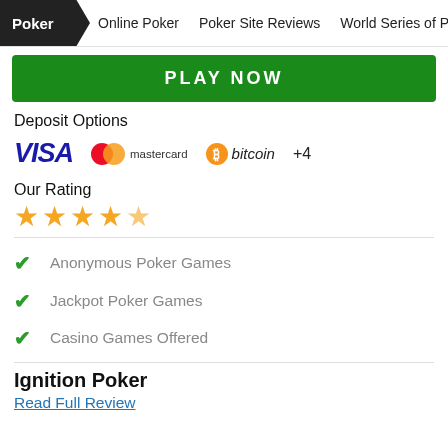Poker | Online Poker | Poker Site Reviews | World Series of Poker
PLAY NOW
Deposit Options
[Figure (logo): Payment logos: VISA, Mastercard, Bitcoin, +4]
Our Rating
[Figure (other): 4.5 star rating shown as gold stars]
Anonymous Poker Games
Jackpot Poker Games
Casino Games Offered
Ignition Poker
Read Full Review